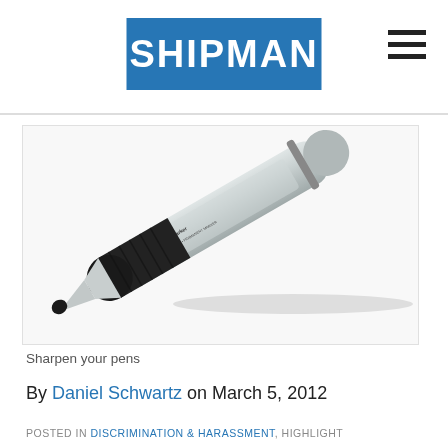SHIPMAN
[Figure (photo): A BIC permanent marker pen, silver and black, shown diagonally on a white background.]
Sharpen your pens
By Daniel Schwartz on March 5, 2012
POSTED IN DISCRIMINATION & HARASSMENT, HIGHLIGHT